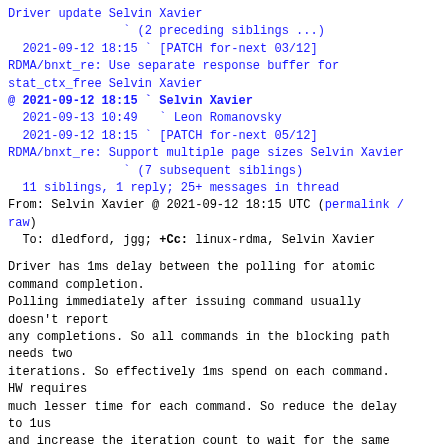Driver update Selvin Xavier
                (2 preceding siblings ...)
  2021-09-12 18:15 ` [PATCH for-next 03/12]
RDMA/bnxt_re: Use separate response buffer for
stat_ctx_free Selvin Xavier
@ 2021-09-12 18:15 ` Selvin Xavier
  2021-09-13 10:49   ` Leon Romanovsky
  2021-09-12 18:15 ` [PATCH for-next 05/12]
RDMA/bnxt_re: Support multiple page sizes Selvin Xavier
                ` (7 subsequent siblings)
  11 siblings, 1 reply; 25+ messages in thread
From: Selvin Xavier @ 2021-09-12 18:15 UTC (permalink /
raw)
  To: dledford, jgg; +Cc: linux-rdma, Selvin Xavier
Driver has 1ms delay between the polling for atomic
command completion.
Polling immediately after issuing command usually
doesn't report
any completions. So all commands in the blocking path
needs two
iterations. So effectively 1ms spend on each command.
HW requires
much lesser time for each command. So reduce the delay
to 1us
and increase the iteration count to wait for the same
time.
Signed-off-by: Selvin Xavier
<selvin.xavier@broadcom.com>